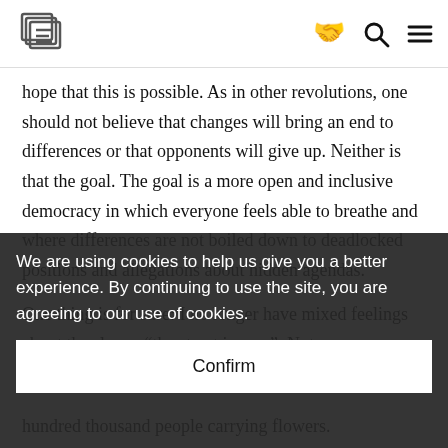Navigation bar with logo, heart/handshake icon, search icon, menu icon
hope that this is possible. As in other revolutions, one should not believe that changes will bring an end to differences or that opponents will give up. Neither is that the goal. The goal is a more open and inclusive democracy in which everyone feels able to breathe and where differences are not boiled down to deadlocked positions and allegations about hidden agendas.
One thing is for sure: I no longer have mixed feelings about the slogan “the street is ours”. Not
hundred thousand people carrying flowers.
We are using cookies to help us give you a better experience. By continuing to use the site, you are agreeing to our use of cookies.
Confirm